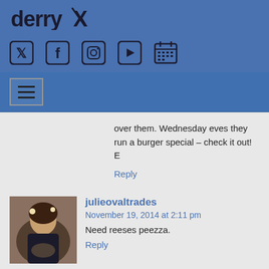[Figure (logo): derryX logo with stylized X]
[Figure (infographic): Social media icons: Twitter, Facebook, Instagram, YouTube, Calendar]
[Figure (infographic): Navigation hamburger menu button]
over them. Wednesday eves they run a burger special – check it out!
E
Reply
[Figure (photo): User avatar photo for julieovaltrades]
julieovaltrades
November 19, 2014 at 2:11 pm
Need reeses peezza.
Reply